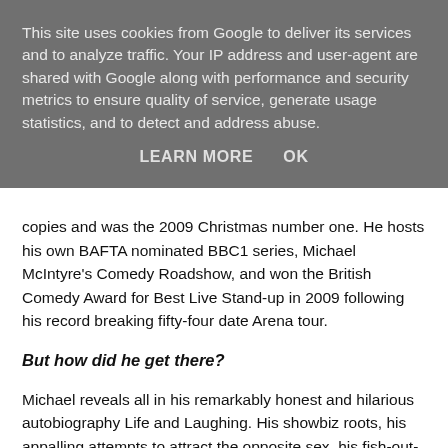This site uses cookies from Google to deliver its services and to analyze traffic. Your IP address and user-agent are shared with Google along with performance and security metrics to ensure quality of service, generate usage statistics, and to detect and address abuse.
LEARN MORE   OK
copies and was the 2009 Christmas number one. He hosts his own BAFTA nominated BBC1 series, Michael McIntyre's Comedy Roadshow, and won the British Comedy Award for Best Live Stand-up in 2009 following his record breaking fifty-four date Arena tour.
But how did he get there?
Michael reveals all in his remarkably honest and hilarious autobiography Life and Laughing. His showbiz roots, his appalling attempts to attract the opposite sex, his fish-out-of-water move from public to state school and his astonishing journey from selling just one ticket at the Edinburgh Festival to selling half a million tickets on his last tour. Michael's story